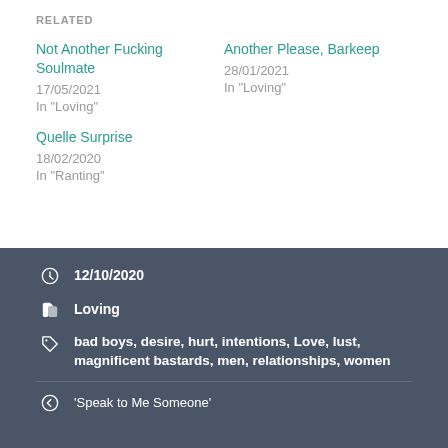RELATED
Not Another Fucking Soulmate
17/05/2021
In "Loving"
Another Please, Barkeep
28/01/2021
In "Loving"
Quelle Surprise
18/02/2020
In "Ranting"
12/10/2020
Loving
bad boys, desire, hurt, intentions, Love, lust, magnificent bastards, men, relationships, women
'Speak to Me Someone'